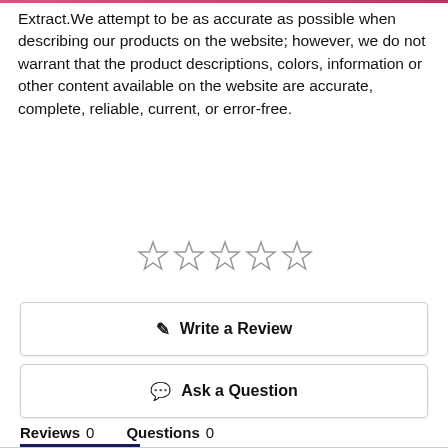Extract.We attempt to be as accurate as possible when describing our products on the website; however, we do not warrant that the product descriptions, colors, information or other content available on the website are accurate, complete, reliable, current, or error-free.
[Figure (other): Five empty star rating icons arranged horizontally]
✎  Write a Review
💬  Ask a Question
Reviews  0     Questions  0